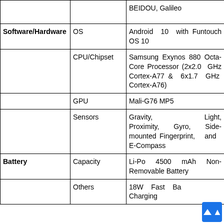| Category | Spec | Value |
| --- | --- | --- |
|  |  | BEIDOU, Galileo |
| Software/Hardware | OS | Android 10 with Funtouch OS 10 |
|  | CPU/Chipset | Samsung Exynos 880 Octa-Core Processor (2x2.0 GHz Cortex-A77 & 6x1.7 GHz Cortex-A76) |
|  | GPU | Mali-G76 MP5 |
|  | Sensors | Gravity, Light, Proximity, Gyro, Side-mounted Fingerprint, and E-Compass |
| Battery | Capacity | Li-Po 4500 mAh Non-Removable Battery |
|  | Others | 18W Fast Ba... Charging |